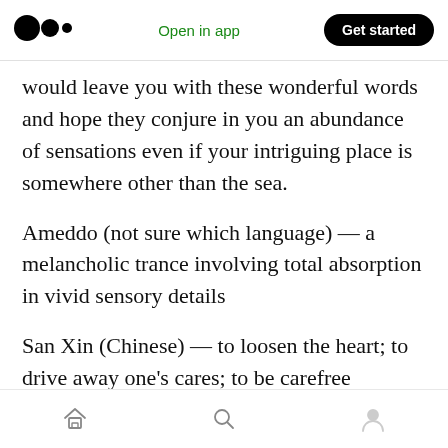Medium logo | Open in app | Get started
would leave you with these wonderful words and hope they conjure in you an abundance of sensations even if your intriguing place is somewhere other than the sea.
Ameddo (not sure which language) — a melancholic trance involving total absorption in vivid sensory details
San Xin (Chinese) — to loosen the heart; to drive away one's cares; to be carefree
Advaita (Sanskrit) — the universal soul and the
Home | Search | Profile